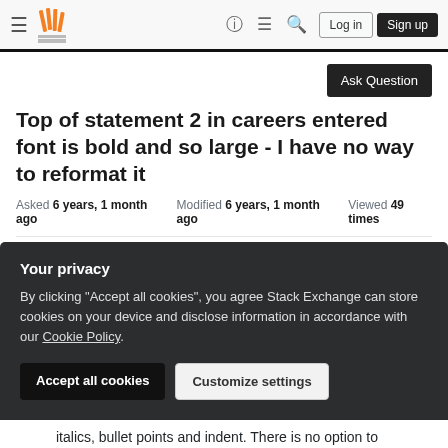Stack Overflow navigation bar with login and sign up buttons
Ask Question
Top of statement 2 in careers entered font is bold and so large - I have no way to reformat it
Asked 6 years, 1 month ago   Modified 6 years, 1 month ago   Viewed 49 times
I'm trying to update our company page and the
Your privacy
By clicking "Accept all cookies", you agree Stack Exchange can store cookies on your device and disclose information in accordance with our Cookie Policy.
Accept all cookies   Customize settings
italics, bullet points and indent. There is no option to